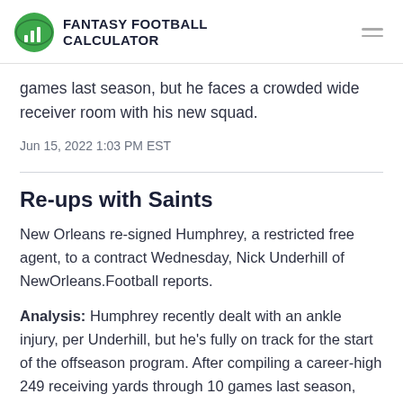FANTASY FOOTBALL CALCULATOR
games last season, but he faces a crowded wide receiver room with his new squad.
Jun 15, 2022 1:03 PM EST
Re-ups with Saints
New Orleans re-signed Humphrey, a restricted free agent, to a contract Wednesday, Nick Underhill of NewOrleans.Football reports.
Analysis: Humphrey recently dealt with an ankle injury, per Underhill, but he's fully on track for the start of the offseason program. After compiling a career-high 249 receiving yards through 10 games last season, Humphrey figures to once again compete for a depth role with the Saints.